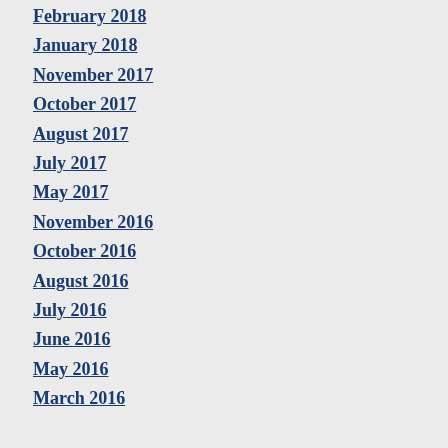February 2018
January 2018
November 2017
October 2017
August 2017
July 2017
May 2017
November 2016
October 2016
August 2016
July 2016
June 2016
May 2016
March 2016